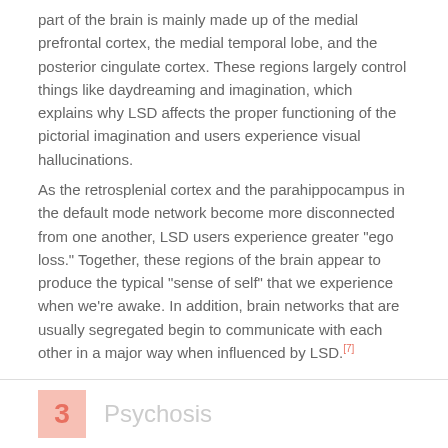part of the brain is mainly made up of the medial prefrontal cortex, the medial temporal lobe, and the posterior cingulate cortex. These regions largely control things like daydreaming and imagination, which explains why LSD affects the proper functioning of the pictorial imagination and users experience visual hallucinations.
As the retrosplenial cortex and the parahippocampus in the default mode network become more disconnected from one another, LSD users experience greater "ego loss." Together, these regions of the brain appear to produce the typical "sense of self" that we experience when we're awake. In addition, brain networks that are usually segregated begin to communicate with each other in a major way when influenced by LSD.[7]
3  Psychosis